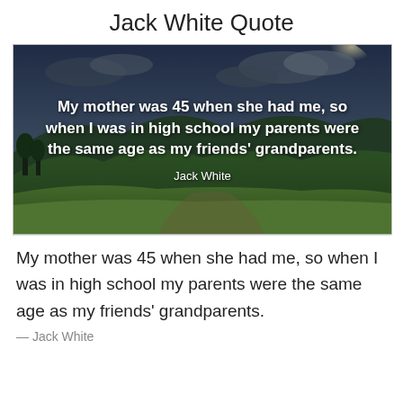Jack White Quote
[Figure (photo): Scenic landscape with green rolling hills, trees, and a dramatic cloudy sky at dusk, used as background for a quote image.]
My mother was 45 when she had me, so when I was in high school my parents were the same age as my friends' grandparents.
Jack White
My mother was 45 when she had me, so when I was in high school my parents were the same age as my friends' grandparents.
— Jack White